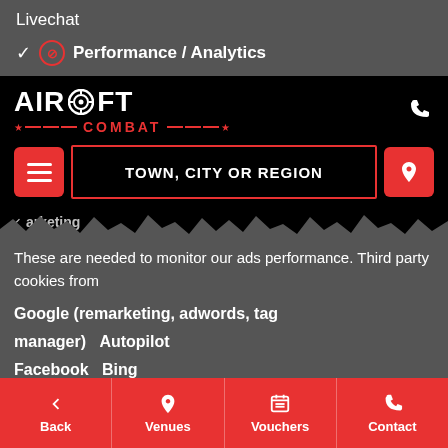Livechat
✓ 🚫 Performance / Analytics
[Figure (screenshot): Airsoft Combat website header with logo, phone icon, hamburger menu button, search field reading TOWN, CITY OR REGION, and location button]
↓ marketing
These are needed to monitor our ads performance. Third party cookies from
Google (remarketing, adwords, tag manager)   Autopilot   Facebook   Bing
✓ 🚫 Social
Third party cookies from
Back   Venues   Vouchers   Contact